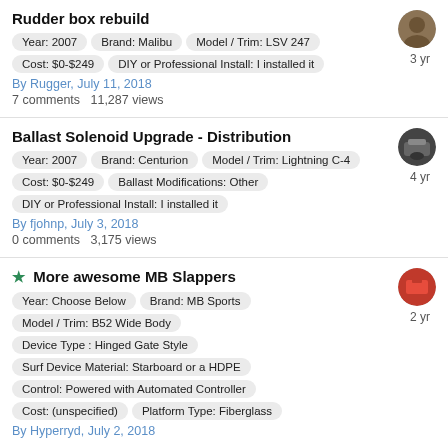Rudder box rebuild
Year: 2007  Brand: Malibu  Model / Trim: LSV 247  Cost: $0-$249  DIY or Professional Install: I installed it
By Rugger, July 11, 2018
7 comments   11,287 views
Ballast Solenoid Upgrade - Distribution
Year: 2007  Brand: Centurion  Model / Trim: Lightning C-4  Cost: $0-$249  Ballast Modifications: Other  DIY or Professional Install: I installed it
By fjohnp, July 3, 2018
0 comments   3,175 views
More awesome MB Slappers
Year: Choose Below  Brand: MB Sports  Model / Trim: B52 Wide Body  Device Type : Hinged Gate Style  Surf Device Material: Starboard or a HDPE  Control: Powered with Automated Controller  Cost: (unspecified)  Platform Type: Fiberglass
By Hyperryd, July 2, 2018